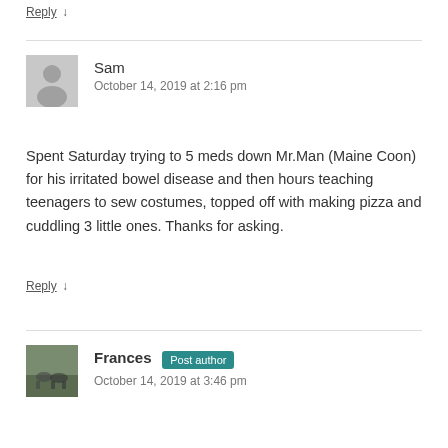Reply ↓
Sam
October 14, 2019 at 2:16 pm
Spent Saturday trying to 5 meds down Mr.Man (Maine Coon) for his irritated bowel disease and then hours teaching teenagers to sew costumes, topped off with making pizza and cuddling 3 little ones. Thanks for asking.
Reply ↓
Frances Post author
October 14, 2019 at 3:46 pm